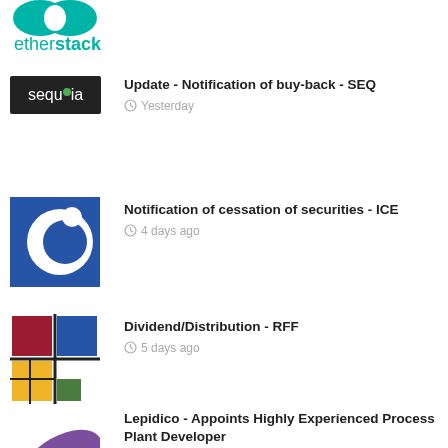[Figure (logo): Etherstack logo - two teal/green overlapping oval shapes above the text 'etherstack' in teal]
[Figure (logo): Sequoia logo - black rectangular background with white lowercase text 'sequoia' and a small green leaf/dot above the 'i']
Update - Notification of buy-back - SEQ
Yesterday
[Figure (logo): ICE logo - blue square background with a large white 'C' shape and a white circle, forming a stylized 'c' or crescent design]
Notification of cessation of securities - ICE
4 days ago
[Figure (logo): RFF logo - abstract geometric grid design with colored squares: dark red top-left, blue top-right, yellow bottom-left, green bottom-right, with black grid lines]
Dividend/Distribution - RFF
5 days ago
[Figure (logo): Lepidico logo - purple/violet elongated leaf or wing shape visible at bottom]
Lepidico - Appoints Highly Experienced Process Plant Developer